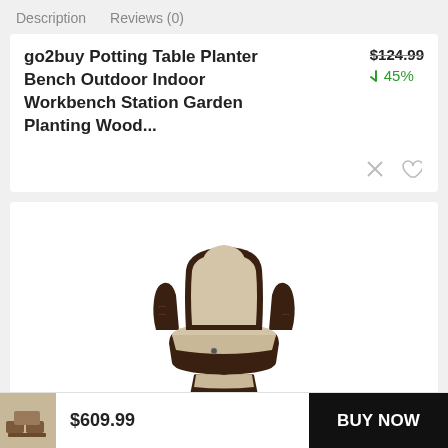Description   Reviews (0)
go2buy Potting Table Planter Bench Outdoor Indoor Workbench Station Garden Planting Wood…
$124.99
↓ 45%
[Figure (photo): Wicker recliner chair with beige cushions on white background]
GARDEN & OUTDOOR
Grand Patio Indoor & Outdoor
$329.00
[Figure (photo): Thumbnail of outdoor furniture set]
$609.99
BUY NOW